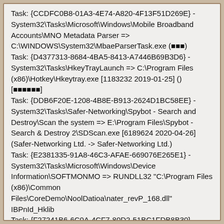Task: {CCDFC0B8-01A3-4E74-A820-4F13F51D269E} - System32\Tasks\Microsoft\Windows\Mobile Broadband Accounts\MNO Metadata Parser => C:\WINDOWS\System32\MbaeParserTask.exe (???)
Task: {D4377313-8684-4BA5-8413-A7446B69B3D6} - System32\Tasks\HkeyTrayLaunch => C:\Program Files (x86)\Hotkey\Hkeytray.exe [1183232 2019-01-25] () [??????]
Task: {DDB6F20E-1208-4B8E-B913-2624D1BC58EE} - System32\Tasks\Safer-Networking\Spybot - Search and Destroy\Scan the system => E:\Program Files\Spybot - Search & Destroy 2\SDScan.exe [6189624 2020-04-26] (Safer-Networking Ltd. -> Safer-Networking Ltd.)
Task: {E2381335-91A8-46C3-AFAE-669076E265E1} - System32\Tasks\Microsoft\Windows\Device Information\SOFTMONMO => RUNDLL32 "C:\Program Files (x86)\Common Files\CoreDemo\NoolDatioa\nater_revP_168.dll" IBPnId_Hklib
Task: {F27241B6-6C0A-4CF7-80D2-51BC1FDB8B30} - System32\Tasks\GoogleUpdateTaskMachineUA => C:\Program Files (x86)\Google\Update\GoogleUpdate.exe [156968 2019-05-19] (Google Inc -> Google Inc.)
Task: {F3F2CBA7-ECF6-4EF5-BEFB-8C79080F9367} - System32\Tasks\Cache-S-21-2946144819-3e21f723-50a5 =>